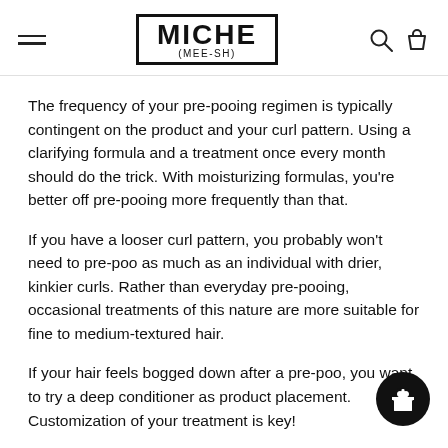MICHE (MEE-SH)
The frequency of your pre-pooing regimen is typically contingent on the product and your curl pattern. Using a clarifying formula and a treatment once every month should do the trick. With moisturizing formulas, you're better off pre-pooing more frequently than that.
If you have a looser curl pattern, you probably won't need to pre-poo as much as an individual with drier, kinkier curls. Rather than everyday pre-pooing, occasional treatments of this nature are more suitable for fine to medium-textured hair.
If your hair feels bogged down after a pre-poo, you want to try a deep conditioner as product placement. Customization of your treatment is key!